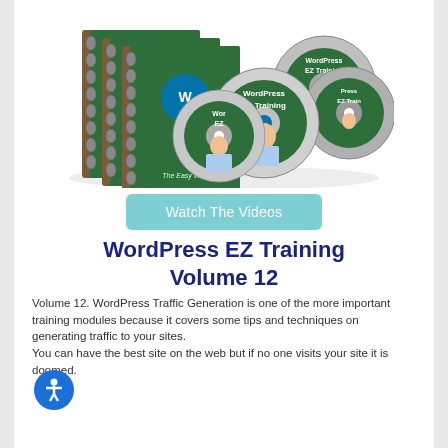[Figure (illustration): Product image showing WordPress EZ Training books (spiral-bound notebooks with green chalkboard covers) and multiple CDs/DVDs with a man in a blue shirt. The course materials are arranged in a fan/stack display.]
Watch The Videos
WordPress EZ Training Volume 12
Volume 12. WordPress Traffic Generation is one of the more important training modules because it covers some tips and techniques on generating traffic to your sites. You can have the best site on the web but if no one visits your site it is doomed.